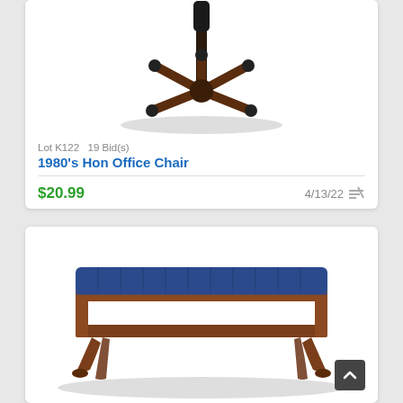[Figure (photo): Bottom view of a 1980s Hon office chair showing the five-star wheeled base and center pole on white background]
Lot K122   19 Bid(s)
1980's Hon Office Chair
$20.99
4/13/22
[Figure (photo): Antique-style wooden bench with blue striped cushion and ornate cabriole legs with claw-and-ball feet]